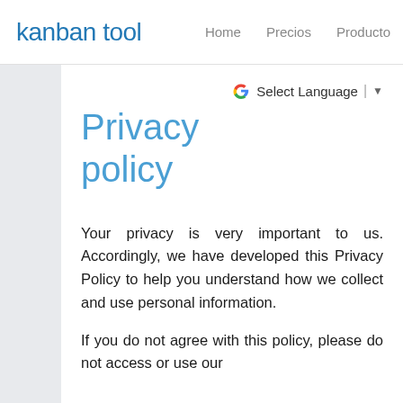kanban tool   Home   Precios   Producto
Privacy policy
Your privacy is very important to us. Accordingly, we have developed this Privacy Policy to help you understand how we collect and use personal information.
If you do not agree with this policy, please do not access or use our